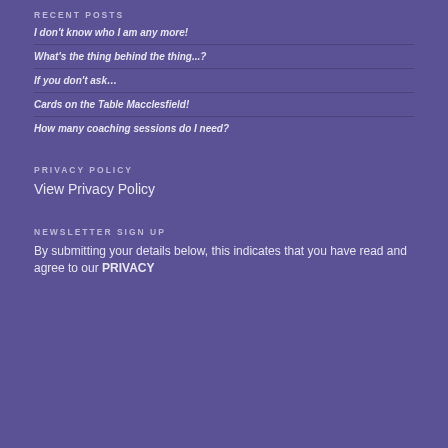RECENT POSTS
I don't know who I am any more!
What's the thing behind the thing...?
If you don't ask…
Cards on the Table Macclesfield!
How many coaching sessions do I need?
PRIVACY POLICY
View Privacy Policy
NEWSLETTER SIGN UP
By submitting your details below, this indicates that you have read and agree to our PRIVACY